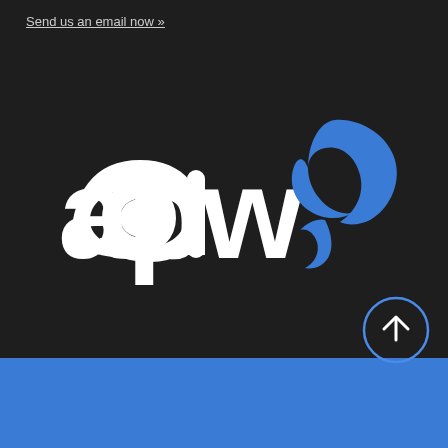Send us an email now »
[Figure (logo): APW Accountancy Plus logo — white lowercase 'apw' text with a blue swoosh/wave graphic element to the right, on a dark background]
[Figure (other): Circular scroll-to-top button with upward arrow, dark background with blue border]
Terms of Use   Privacy Policy
Designed and Developed by Web123
Copyright © 2021 APW Accountancy Plus